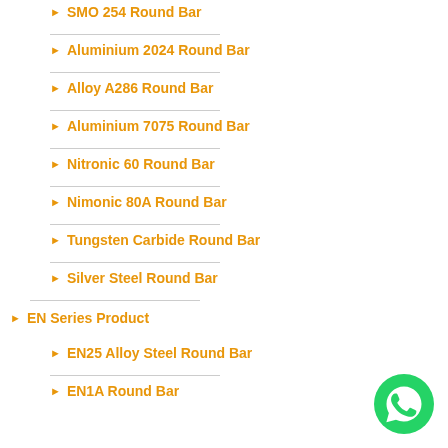SMO 254 Round Bar
Aluminium 2024 Round Bar
Alloy A286 Round Bar
Aluminium 7075 Round Bar
Nitronic 60 Round Bar
Nimonic 80A Round Bar
Tungsten Carbide Round Bar
Silver Steel Round Bar
EN Series Product
EN25 Alloy Steel Round Bar
EN1A Round Bar